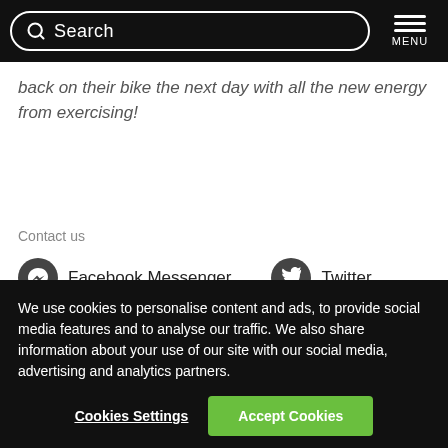Search | MENU
back on their bike the next day with all the new energy from exercising!
Contact us
Facebook Messenger   Twitter
We use cookies to personalise content and ads, to provide social media features and to analyse our traffic. We also share information about your use of our site with our social media, advertising and analytics partners.
Cookies Settings | Accept Cookies